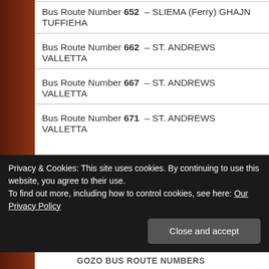Bus Route Number 652 – SLIEMA (Ferry) GHAJN TUFFIEHA
Bus Route Number 662 – ST. ANDREWS VALLETTA
Bus Route Number 667 – ST. ANDREWS VALLETTA
Bus Route Number 671 – ST. ANDREWS VALLETTA
Privacy & Cookies: This site uses cookies. By continuing to use this website, you agree to their use.
To find out more, including how to control cookies, see here: Our Privacy Policy
GOZO BUS ROUTE NUMBERS